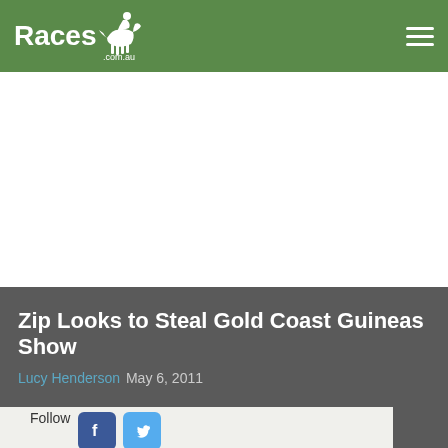Races.com.au
Zip Looks to Steal Gold Coast Guineas Show
Lucy Henderson  May 6, 2011
Follow
[Figure (logo): Facebook and Twitter social media share icons]